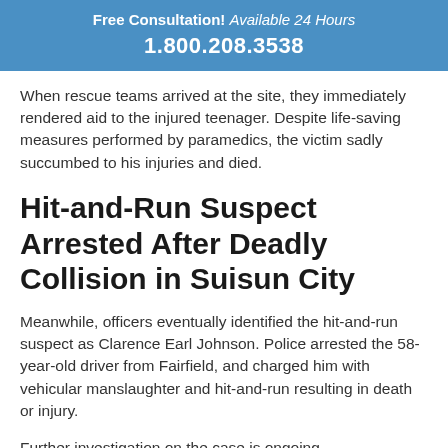Free Consultation! Available 24 Hours 1.800.208.3538
When rescue teams arrived at the site, they immediately rendered aid to the injured teenager. Despite life-saving measures performed by paramedics, the victim sadly succumbed to his injuries and died.
Hit-and-Run Suspect Arrested After Deadly Collision in Suisun City
Meanwhile, officers eventually identified the hit-and-run suspect as Clarence Earl Johnson. Police arrested the 58-year-old driver from Fairfield, and charged him with vehicular manslaughter and hit-and-run resulting in death or injury.
Further investigation on the case is ongoing.